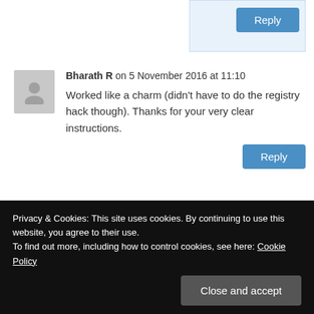[Figure (screenshot): Reply button area at top with light blue background]
Bharath R on 5 November 2016 at 11:10
Worked like a charm (didn't have to do the registry hack though). Thanks for your very clear instructions.
Mimi on 11 December 2016 at 17:37
Bravo!!! It worked!!! My language icon is back S
Privacy & Cookies: This site uses cookies. By continuing to use this website, you agree to their use.
To find out more, including how to control cookies, see here: Cookie Policy